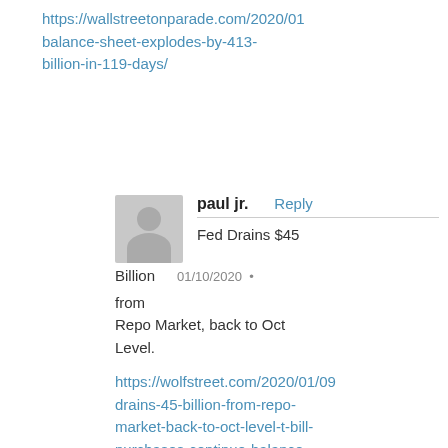https://wallstreetonparade.com/2020/01/balance-sheet-explodes-by-413-billion-in-119-days/
paul jr. Reply
Fed Drains $45 Billion from Repo Market, back to Oct Level.
01/10/2020
https://wolfstreet.com/2020/01/09/drains-45-billion-from-repo-market-back-to-oct-level-t-bill-purchases-continue-balance-sheet-shrinks-by-most-since-qt/